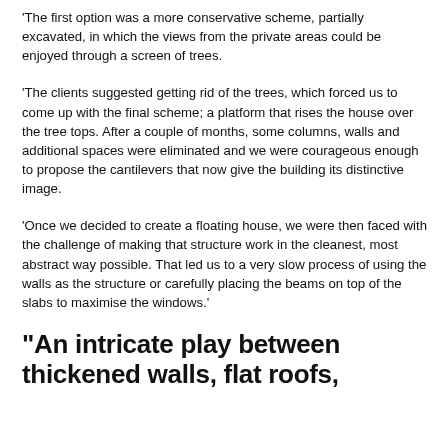'The first option was a more conservative scheme, partially excavated, in which the views from the private areas could be enjoyed through a screen of trees.
'The clients suggested getting rid of the trees, which forced us to come up with the final scheme; a platform that rises the house over the tree tops. After a couple of months, some columns, walls and additional spaces were eliminated and we were courageous enough to propose the cantilevers that now give the building its distinctive image.
'Once we decided to create a floating house, we were then faced with the challenge of making that structure work in the cleanest, most abstract way possible. That led us to a very slow process of using the walls as the structure or carefully placing the beams on top of the slabs to maximise the windows.'
"An intricate play between thickened walls, flat roofs,